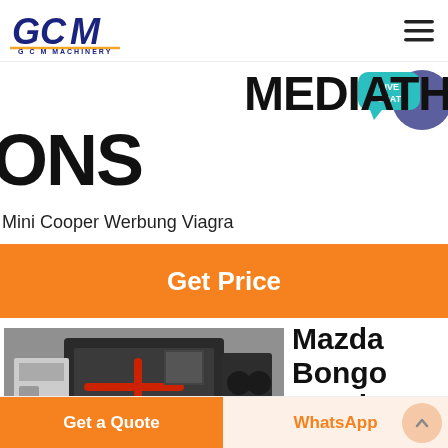[Figure (logo): GCM Machinery logo with blue stylized 'GCM' letters and gold underline, 'G C M  MACHINERY' text below]
[Figure (infographic): Live chat bubble icon - teal bubble with 'LIVE CHAT' text overlapping a purple circle]
MEDIATH
ONS
Mini Cooper Werbung Viagra
[Figure (other): Orange 'Get Price' call-to-action button bar]
[Figure (photo): Industrial machinery/crusher equipment in a factory setting, black metal frame with red components]
Mazda Bongo Breakers
[Figure (other): Bottom navigation bar with orange 'Get a Quote' button, 'WhatsApp' text button, and scroll-to-top circle button]